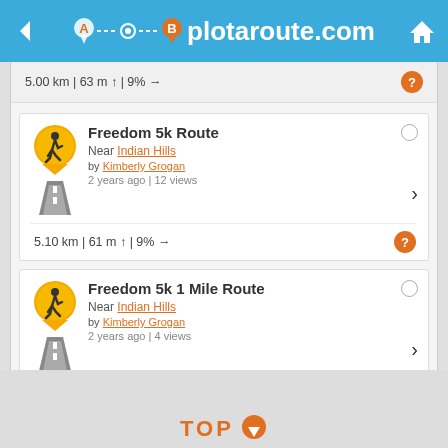plotaroute.com
5.00 km | 63 m ↑ | 9% →
Freedom 5k Route — Near Indian Hills by Kimberly Grogan — 2 years ago | 12 views — 5.10 km | 61 m ↑ | 9% →
Freedom 5k 1 Mile Route — Near Indian Hills by Kimberly Grogan — 2 years ago | 4 views — 1.61 km | 16 m ↑ | 12% →
FIND MORE NEARBY ROUTES
TOP